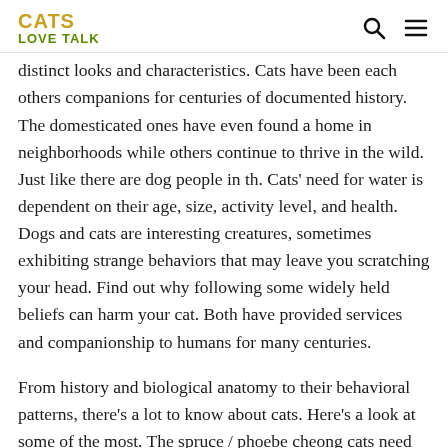CATS LOVE TALK
distinct looks and characteristics. Cats have been each others companions for centuries of documented history. The domesticated ones have even found a home in neighborhoods while others continue to thrive in the wild. Just like there are dog people in th. Cats' need for water is dependent on their age, size, activity level, and health. Dogs and cats are interesting creatures, sometimes exhibiting strange behaviors that may leave you scratching your head. Find out why following some widely held beliefs can harm your cat. Both have provided services and companionship to humans for many centuries.
From history and biological anatomy to their behavioral patterns, there's a lot to know about cats. Here's a look at some of the most. The spruce / phoebe cheong cats need fresh drinking water every day for optimum health. Find out